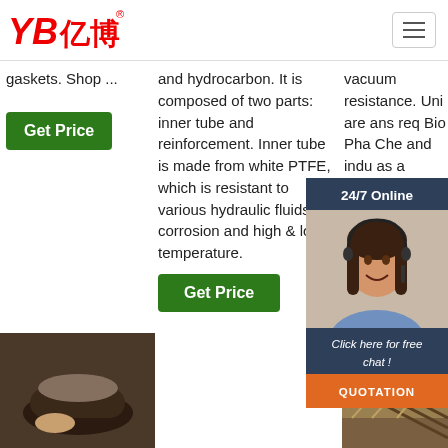[Figure (logo): YB亿博 company logo in red italic text]
[Figure (other): Hamburger menu icon button top right]
gaskets. Shop ...
and hydrocarbon. It is composed of two parts: inner tube and reinforcement. Inner tube is made from white PTFE, which is resistant to various hydraulic fluids, corrosion and high & low temperature.
vacuum resistance. Uni are ans req Bio Pha Che and indu as a
Get Price
Get Price
Get Price
[Figure (photo): 24/7 Online chat widget with customer service representative photo, Click here for free chat text, and QUOTATION button]
[Figure (photo): Bottom left product photo showing hose/gasket]
[Figure (photo): Bottom right product photo showing braided hose]
[Figure (other): TOP badge with orange dots and text]